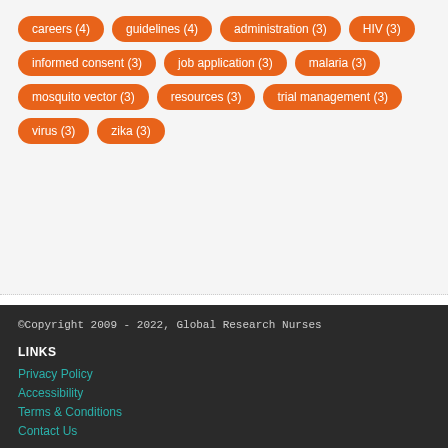careers (4)
guidelines (4)
administration (3)
HIV (3)
informed consent (3)
job application (3)
malaria (3)
mosquito vector (3)
resources (3)
trial management (3)
virus (3)
zika (3)
©Copyright 2009 - 2022, Global Research Nurses
LINKS
Privacy Policy
Accessibility
Terms & Conditions
Contact Us